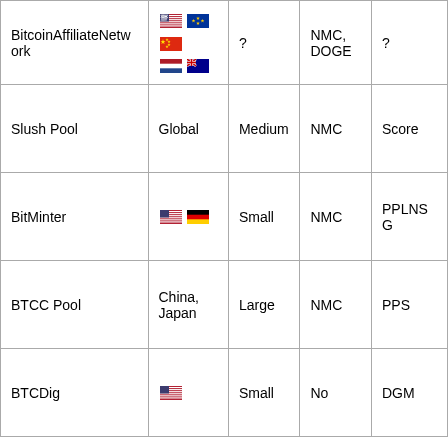| BitcoinAffiliateNetwork | [flags: US, EU, CN, NL, AU] | ? | NMC, DOGE | ? |
| Slush Pool | Global | Medium | NMC | Score |
| BitMinter | [flags: US, DE] | Small | NMC | PPLNSG |
| BTCC Pool | China, Japan | Large | NMC | PPS |
| BTCDig | [flag: US] | Small | No | DGM |